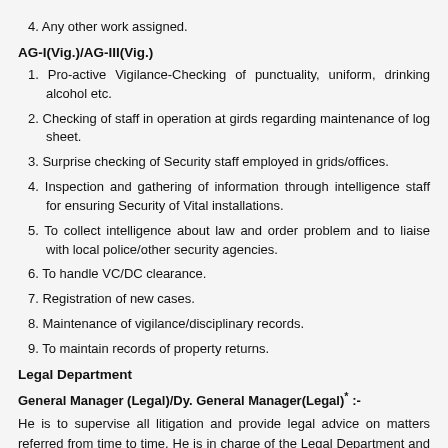4. Any other work assigned.
AG-I(Vig.)/AG-III(Vig.)
1. Pro-active Vigilance-Checking of punctuality, uniform, drinking alcohol etc.
2. Checking of staff in operation at girds regarding maintenance of log sheet.
3. Surprise checking of Security staff employed in grids/offices.
4. Inspection and gathering of information through intelligence staff for ensuring Security of Vital installations.
5. To collect intelligence about law and order problem and to liaise with local police/other security agencies.
6. To handle VC/DC clearance.
7. Registration of new cases.
8. Maintenance of vigilance/disciplinary records.
9. To maintain records of property returns.
Legal Department
General Manager (Legal)/Dy. General Manager(Legal)* :-
He is to supervise all litigation and provide legal advice on matters referred from time to time. He is in charge of the Legal Department and responsible for